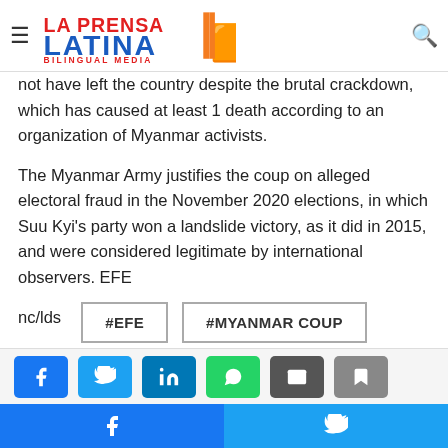La Prensa Latina Bilingual Media — navigation bar with hamburger menu and search icon
not have left the country despite the brutal crackdown, which has caused at least 1 death according to an organization of Myanmar activists.
The Myanmar Army justifies the coup on alleged electoral fraud in the November 2020 elections, in which Suu Kyi's party won a landslide victory, as it did in 2015, and were considered legitimate by international observers. EFE
nc/lds
#EFE
#MYANMAR COUP
Social share icons: Facebook, Twitter, LinkedIn, WhatsApp, Email, Bookmark. Sticky bar: Facebook, Twitter